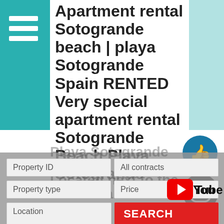Apartment rental Sotogrande beach | playa Sotogrande Spain RENTED Very special apartment rental Sotogrande Beach Playa Sotogrande southern Spain Located next to the Mediterranean
[Figure (screenshot): Thumbs up like icon (Facebook style, teal circle with white thumb up emoji)]
[Figure (logo): Instagram logo icon (black circle with camera icon)]
[Figure (logo): YouTube logo (red rounded rectangle with white play button, 'You' and 'Tube' text in black and white)]
Property ID
All contracts
Property type
Price
Location
SEARCH